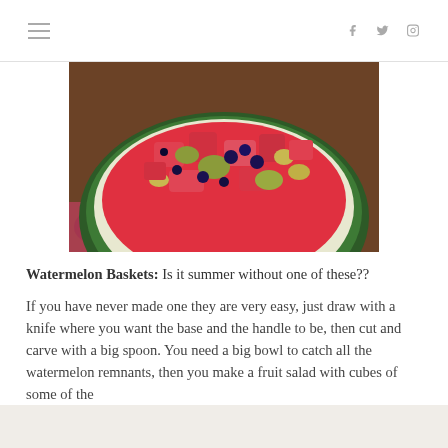≡  f  𝕏  ⬜
[Figure (photo): A halved watermelon used as a basket bowl filled with mixed fruit salad including watermelon chunks, kiwi, blueberries, and grapes, sitting on a decorative plate/tablecloth.]
Watermelon Baskets:  Is it summer without one of these??
If you have never made one they are very easy, just draw with a knife where you want the base and the handle to be, then cut and carve with a big spoon.  You need a big bowl to catch all the watermelon remnants, then you make a fruit salad with cubes of some of the